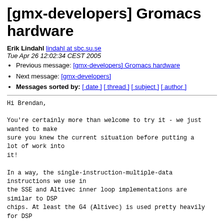[gmx-developers] Gromacs hardware
Erik Lindahl lindahl at sbc.su.se
Tue Apr 26 12:02:34 CEST 2005
Previous message: [gmx-developers] Gromacs hardware
Next message: [gmx-developers]
Messages sorted by: [ date ] [ thread ] [ subject ] [ author ]
Hi Brendan,

You're certainly more than welcome to try it - we just wanted to make
sure you knew the current situation before putting a lot of work into
it!

In a way, the single-instruction-multiple-data instructions we use in
the SSE and Altivec inner loop implementations are similar to DSP
chips. At least the G4 (Altivec) is used pretty heavily for DSP